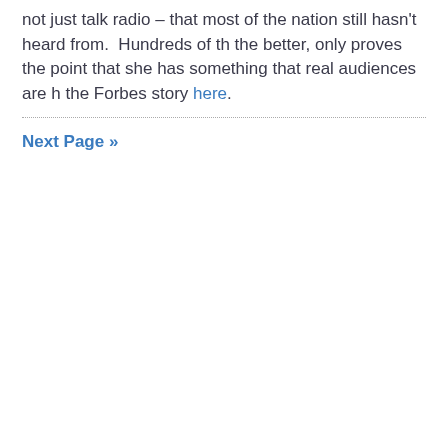not just talk radio – that most of the nation still hasn't heard from.  Hundreds of th the better, only proves the point that she has something that real audiences are h the Forbes story here.
Next Page »